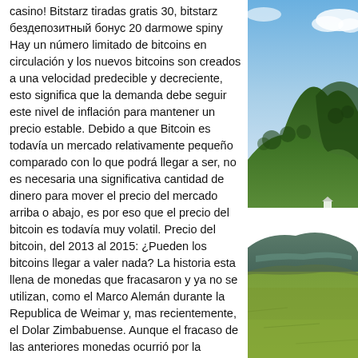casino! Bitstarz tiradas gratis 30, bitstarz бездепозитный бонус 20 darmowe spiny Hay un número limitado de bitcoins en circulación y los nuevos bitcoins son creados a una velocidad predecible y decreciente, esto significa que la demanda debe seguir este nivel de inflación para mantener un precio estable. Debido a que Bitcoin es todavía un mercado relativamente pequeño comparado con lo que podrá llegar a ser, no es necesaria una significativa cantidad de dinero para mover el precio del mercado arriba o abajo, es por eso que el precio del bitcoin es todavía muy volatil. Precio del bitcoin, del 2013 al 2015: ¿Pueden los bitcoins llegar a valer nada? La historia esta llena de monedas que fracasaron y ya no se utilizan, como el Marco Alemán durante la Republica de Weimar y, mas recientemente, el Dolar Zimbabuense. Aunque el fracaso de las anteriores monedas ocurrió por la hiperinflación, lo cual es imposible que
[Figure (photo): Landscape photo showing a green valley with a lake or pond in the foreground, dense forested hillside and mountain in the background under a partly cloudy blue sky.]